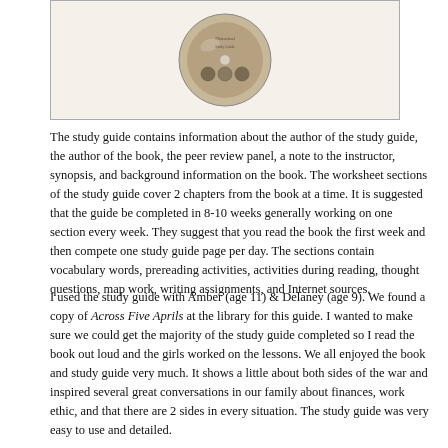[Figure (photo): A CD/DVD disc with a historical or educational book cover design, shown partially at top in a bordered box]
The study guide contains information about the author of the study guide, the author of the book, the peer review panel, a note to the instructor, synopsis, and background information on the book. The worksheet sections of the study guide cover 2 chapters from the book at a time. It is suggested that the guide be completed in 8-10 weeks generally working on one section every week. They suggest that you read the book the first week and then compete one study guide page per day. The sections contain vocabulary words, prereading activities, activities during reading, thought questions, map work, writing assignments, and Internet sources.
I used the study guide with Amber (age 11) & Delaney (age 9). We found a copy of Across Five Aprils at the library for this guide. I wanted to make sure we could get the majority of the study guide completed so I read the book out loud and the girls worked on the lessons. We all enjoyed the book and study guide very much. It shows a little about both sides of the war and inspired several great conversations in our family about finances, work ethic, and that there are 2 sides in every situation. The study guide was very easy to use and detailed.